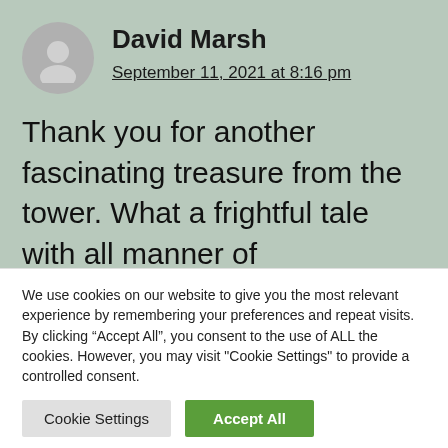David Marsh
September 11, 2021 at 8:16 pm
Thank you for another fascinating treasure from the tower. What a frightful tale with all manner of psychological and folkloric underpinnings. I particularly enjoyed author
We use cookies on our website to give you the most relevant experience by remembering your preferences and repeat visits. By clicking “Accept All”, you consent to the use of ALL the cookies. However, you may visit "Cookie Settings" to provide a controlled consent.
Cookie Settings
Accept All